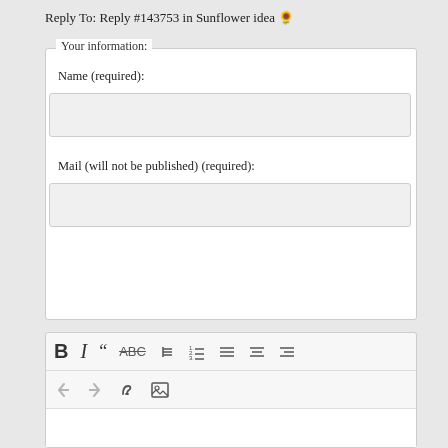Reply To: Reply #143753 in Sunflower idea 🌻
Your information:
Name (required):
Mail (will not be published) (required):
[Figure (screenshot): Text editor toolbar with icons: Bold (B), Italic (I), blockquote (66), strikethrough (ABC), unordered list, ordered list, align left, align center, align right, then second row: undo, redo, link, image icons]